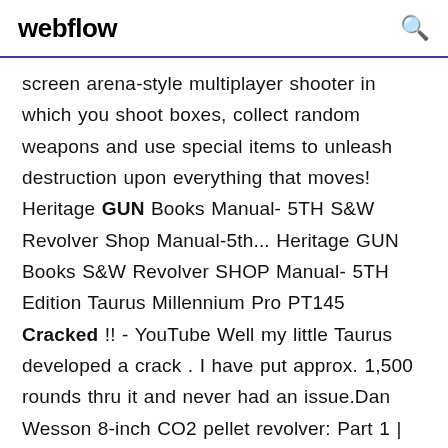webflow
screen arena-style multiplayer shooter in which you shoot boxes, collect random weapons and use special items to unleash destruction upon everything that moves! Heritage GUN Books Manual- 5TH S&W Revolver Shop Manual-5th... Heritage GUN Books S&W Revolver SHOP Manual- 5TH Edition Taurus Millennium Pro PT145 Cracked !! - YouTube Well my little Taurus developed a crack . I have put approx. 1,500 rounds thru it and never had an issue.Dan Wesson 8-inch CO2 pellet revolver: Part 1 | Air gun blog...https://pyramydair.com/...8-inch-co2-pellet-revolver-part-1by Tom Gaylord, The Godfather of Airguns Writing as B.B. Pelletier